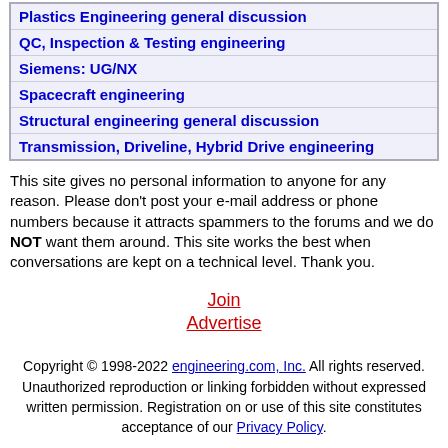| Plastics Engineering general discussion |
| QC, Inspection & Testing engineering |
| Siemens: UG/NX |
| Spacecraft engineering |
| Structural engineering general discussion |
| Transmission, Driveline, Hybrid Drive engineering |
This site gives no personal information to anyone for any reason. Please don't post your e-mail address or phone numbers because it attracts spammers to the forums and we do NOT want them around. This site works the best when conversations are kept on a technical level. Thank you.
Join
Advertise
Copyright © 1998-2022 engineering.com, Inc. All rights reserved. Unauthorized reproduction or linking forbidden without expressed written permission. Registration on or use of this site constitutes acceptance of our Privacy Policy.
[Figure (logo): engineering.com logo with globe/mesh icon and bold text]